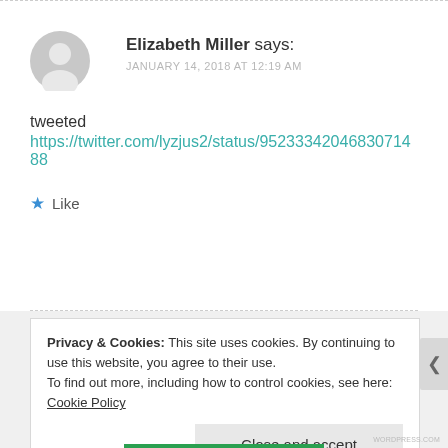Elizabeth Miller says:
JANUARY 14, 2018 AT 12:19 AM
tweeted
https://twitter.com/lyzjus2/status/952334204683071488
Like
Privacy & Cookies: This site uses cookies. By continuing to use this website, you agree to their use.
To find out more, including how to control cookies, see here: Cookie Policy
Close and accept